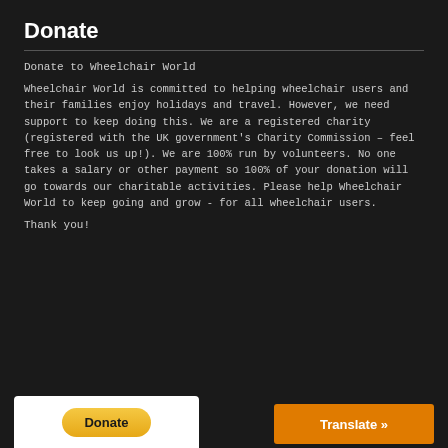Donate
Donate to Wheelchair World
Wheelchair World is committed to helping wheelchair users and their families enjoy holidays and travel. However, we need support to keep doing this. We are a registered charity (registered with the UK government's Charity Commission – feel free to look us up!). We are 100% run by volunteers. No one takes a salary or other payment so 100% of your donation will go towards our charitable activities. Please help Wheelchair World to keep going and grow - for all wheelchair users.
Thank you!
[Figure (other): PayPal Donate button on white background]
[Figure (other): Orange Translate button with right arrow]